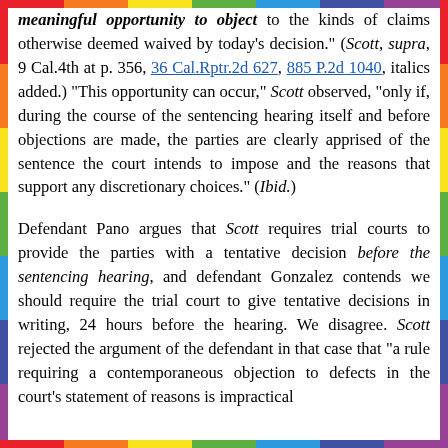meaningful opportunity to object to the kinds of claims otherwise deemed waived by today's decision." (Scott, supra, 9 Cal.4th at p. 356, 36 Cal.Rptr.2d 627, 885 P.2d 1040, italics added.) "This opportunity can occur," Scott observed, "only if, during the course of the sentencing hearing itself and before objections are made, the parties are clearly apprised of the sentence the court intends to impose and the reasons that support any discretionary choices." (Ibid.)
Defendant Pano argues that Scott requires trial courts to provide the parties with a tentative decision before the sentencing hearing, and defendant Gonzalez contends we should require the trial court to give tentative decisions in writing, 24 hours before the hearing. We disagree. Scott rejected the argument of the defendant in that case that "a rule requiring a contemporaneous objection to defects in the court's statement of reasons is impractical